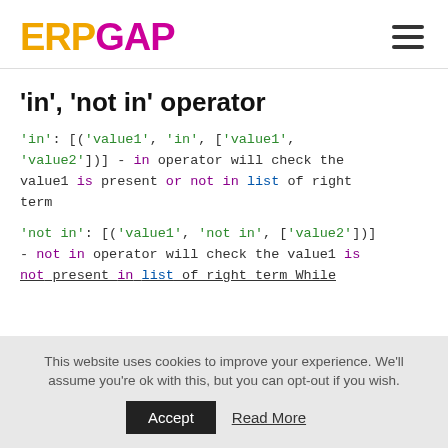ERPGAP
'in', 'not in' operator
'in': [('value1', 'in', ['value1', 'value2'])] - in operator will check the value1 is present or not in list of right term
'not in': [('value1', 'not in', ['value2'])] - not in operator will check the value1 is not present in list of right term While
This website uses cookies to improve your experience. We'll assume you're ok with this, but you can opt-out if you wish.